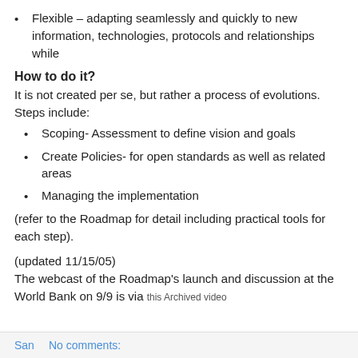Flexible – adapting seamlessly and quickly to new information, technologies, protocols and relationships while
How to do it?
It is not created per se, but rather a process of evolutions. Steps include:
Scoping- Assessment to define vision and goals
Create Policies- for open standards as well as related areas
Managing the implementation
(refer to the Roadmap for detail including practical tools for each step).
(updated 11/15/05)
The webcast of the Roadmap's launch and discussion at the World Bank on 9/9 is via this Archived video
San   No comments: